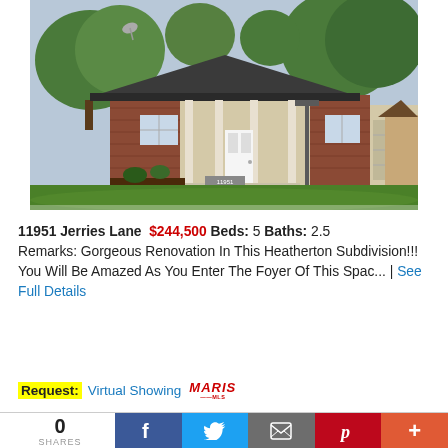[Figure (photo): Exterior photo of a single-story ranch-style home with brick accents, covered front porch, attached garage, green lawn, and trees in background]
11951 Jerries Lane  $244,500 Beds: 5 Baths: 2.5 Remarks: Gorgeous Renovation In This Heatherton Subdivision!!! You Will Be Amazed As You Enter The Foyer Of This Spac... | See Full Details
Request: Virtual Showing MARIS MLS
0 SHARES